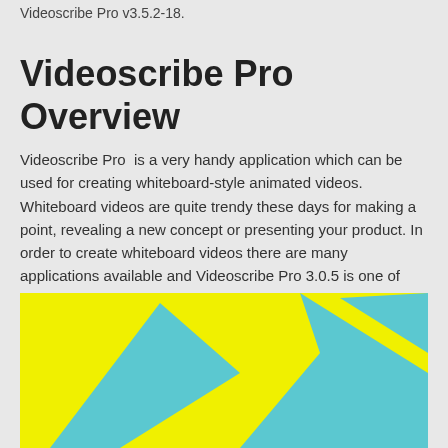Videoscribe Pro v3.5.2-18.
Videoscribe Pro Overview
Videoscribe Pro  is a very handy application which can be used for creating whiteboard-style animated videos. Whiteboard videos are quite trendy these days for making a point, revealing a new concept or presenting your product. In order to create whiteboard videos there are many applications available and Videoscribe Pro 3.0.5 is one of them. You can also download VideoScribe Pro 2.3.7 x64 + Portable.
[Figure (illustration): Yellow background with teal/blue geometric triangle shapes forming a stylized V logo]